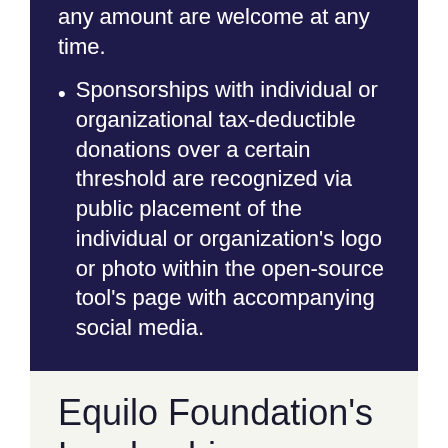any amount are welcome at any time.
Sponsorships with individual or organizational tax-deductible donations over a certain threshold are recognized via public placement of the individual or organization's logo or photo within the open-source tool's page with accompanying social media.
Equilo Foundation's Leadership
The Equilo Foundation is led by it's President, Dr. Pat T. Morris, with guidance and oversight by the Foundation's Board led by Equilo, Inc.'s CEO, Jessica